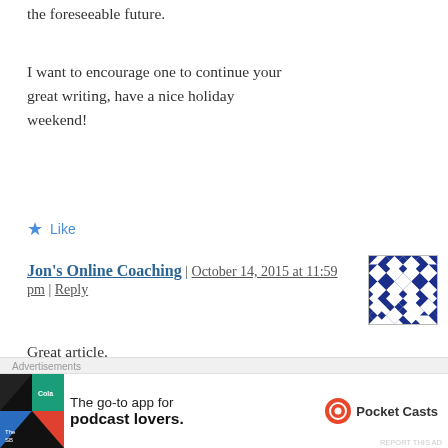the foreseeable future.
I want to encourage one to continue your great writing, have a nice holiday weekend!
★ Like
Jon's Online Coaching | October 14, 2015 at 11:59 pm | Reply
[Figure (illustration): Blue and white geometric pattern avatar for Jon's Online Coaching]
Great article.
★ Like
Advertisements
[Figure (infographic): Pocket Casts advertisement: The go-to app for podcast lovers.]